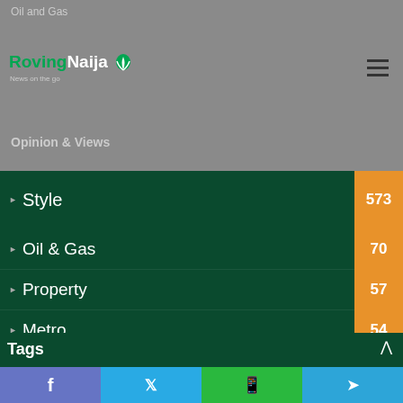Oil and Gas
[Figure (logo): Roving Naija logo with green leaf icon and tagline 'News on the go']
Opinion & Views
Style 573
TV 147
Tech. 82
Oil & Gas 70
Property 57
Metro 54
Agro 31
Others 22
Sponsored Post 22
Tags
Facebook Twitter WhatsApp Telegram